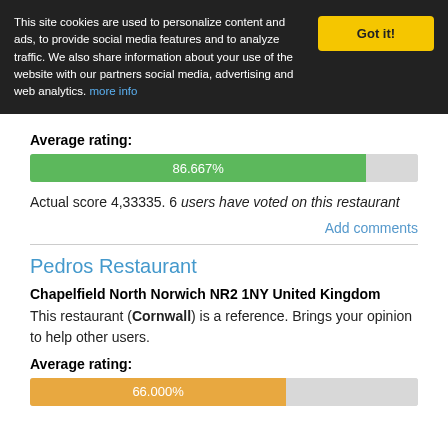This site cookies are used to personalize content and ads, to provide social media features and to analyze traffic. We also share information about your use of the website with our partners social media, advertising and web analytics. more info
Got it!
Average rating:
[Figure (bar-chart): Average rating]
Actual score 4,33335. 6 users have voted on this restaurant
Add comments
Pedros Restaurant
Chapelfield North Norwich NR2 1NY United Kingdom
This restaurant (Cornwall) is a reference. Brings your opinion to help other users.
Average rating:
[Figure (bar-chart): Average rating]